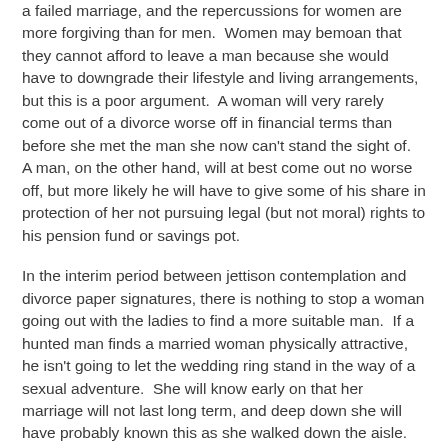a failed marriage, and the repercussions for women are more forgiving than for men.  Women may bemoan that they cannot afford to leave a man because she would have to downgrade their lifestyle and living arrangements, but this is a poor argument.  A woman will very rarely come out of a divorce worse off in financial terms than before she met the man she now can't stand the sight of.  A man, on the other hand, will at best come out no worse off, but more likely he will have to give some of his share in protection of her not pursuing legal (but not moral) rights to his pension fund or savings pot.
In the interim period between jettison contemplation and divorce paper signatures, there is nothing to stop a woman going out with the ladies to find a more suitable man.  If a hunted man finds a married woman physically attractive, he isn't going to let the wedding ring stand in the way of a sexual adventure.  She will know early on that her marriage will not last long term, and deep down she will have probably known this as she walked down the aisle.  But the big day, and exploitation it brings, is a bigger prize than the risk of the marriage not working out.  And whilst it has been referenced